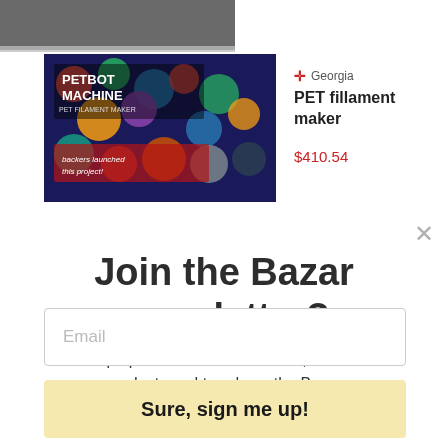[Figure (screenshot): Partial product thumbnail at top of page showing a dark blue/grey image strip]
[Figure (photo): PETBOT MACHINE PET FILAMENT MAKER product image with colorful cap/bottle background]
Georgia
PET fillament maker
$410.54
Join the Bazar newsletter?
Keep up with all the latest news, featured products and trends on the Bazar
Email
Sure, sign me up!